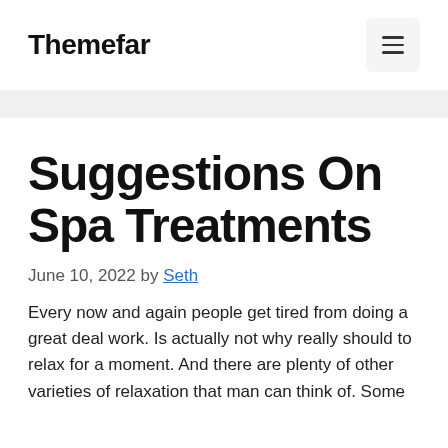Themefar
Suggestions On Spa Treatments
June 10, 2022 by Seth
Every now and again people get tired from doing a great deal work. Is actually not why really should to relax for a moment. And there are plenty of other varieties of relaxation that man can think of. Some